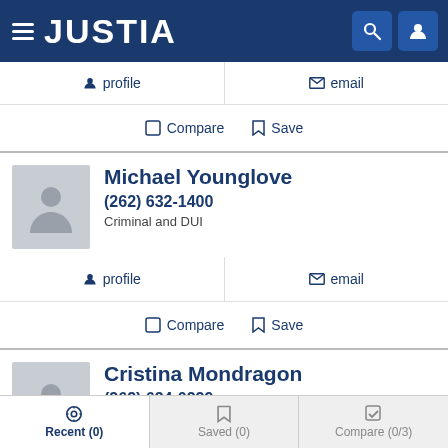[Figure (screenshot): Justia website header with hamburger menu, JUSTIA logo, search icon, and user icon on dark blue background]
profile   email
Compare   Save
Michael Younglove
(262) 632-1400
Criminal and DUI
profile   email
Compare   Save
Cristina Mondragon
(262) 634-0229
Criminal, DUI, Divorce and Family
Recent (0)   Saved (0)   Compare (0/3)